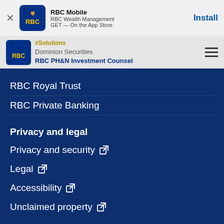[Figure (screenshot): RBC Mobile app install banner with RBC logo, app name, subtitle, and Install button]
[Figure (screenshot): RBC navigation bar with logo, breadcrumb links and hamburger menu]
RBC Royal Trust
RBC Private Banking
Privacy and legal
Privacy and security
Legal
Accessibility
Unclaimed property